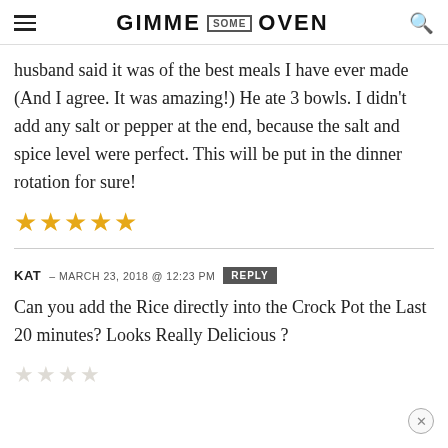GIMME SOME OVEN
husband said it was of the best meals I have ever made (And I agree. It was amazing!) He ate 3 bowls. I didn't add any salt or pepper at the end, because the salt and spice level were perfect. This will be put in the dinner rotation for sure!
[Figure (other): Five gold star rating icons]
KAT — MARCH 23, 2018 @ 12:23 PM  REPLY
Can you add the Rice directly into the Crock Pot the Last 20 minutes? Looks Really Delicious ?
[Figure (other): Faded/empty star rating row at bottom]